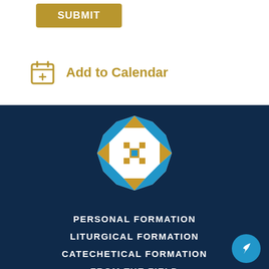SUBMIT
Add to Calendar
[Figure (logo): Circular logo with gold cross pattern and blue globe segments on dark navy background]
PERSONAL FORMATION
LITURGICAL FORMATION
CATECHETICAL FORMATION
FROM THE FIELD